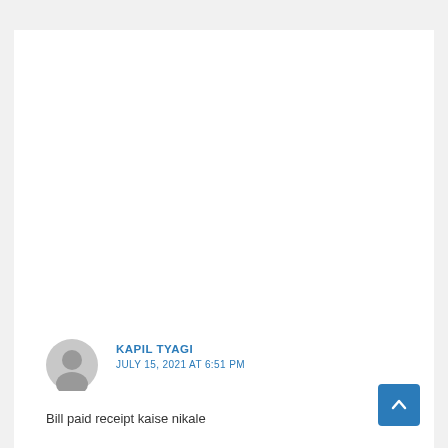KAPIL TYAGI
JULY 15, 2021 AT 6:51 PM
Bill paid receipt kaise nikale